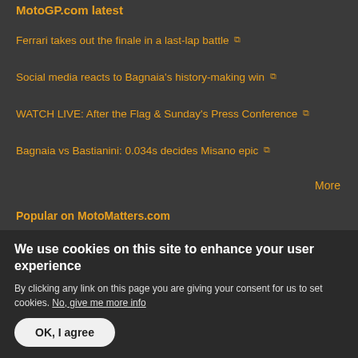MotoGP.com latest
Ferrari takes out the finale in a last-lap battle
Social media reacts to Bagnaia's history-making win
WATCH LIVE: After the Flag & Sunday's Press Conference
Bagnaia vs Bastianini: 0.034s decides Misano epic
More
Popular on MotoMatters.com
Today's:
2022 Misano MotoGP Race Result: Achievement Unlocked
We use cookies on this site to enhance your user experience
By clicking any link on this page you are giving your consent for us to set cookies. No, give me more info
OK, I agree